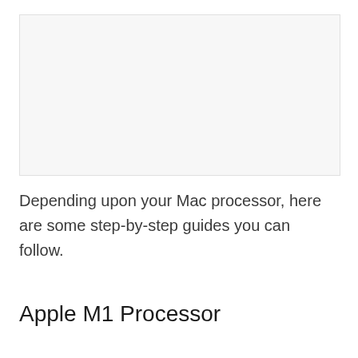[Figure (other): Blank light gray image placeholder area]
Depending upon your Mac processor, here are some step-by-step guides you can follow.
Apple M1 Processor